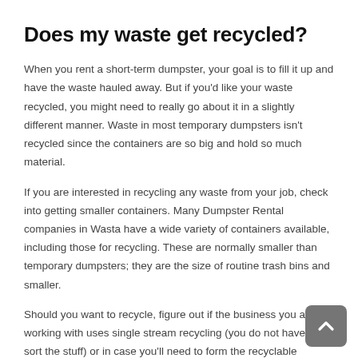Does my waste get recycled?
When you rent a short-term dumpster, your goal is to fill it up and have the waste hauled away. But if you'd like your waste recycled, you might need to really go about it in a slightly different manner. Waste in most temporary dumpsters isn't recycled since the containers are so big and hold so much material.
If you are interested in recycling any waste from your job, check into getting smaller containers. Many Dumpster Rental companies in Wasta have a wide variety of containers available, including those for recycling. These are normally smaller than temporary dumpsters; they are the size of routine trash bins and smaller.
Should you want to recycle, figure out if the business you are working with uses single stream recycling (you do not have to sort the stuff) or in case you'll need to form the recyclable material to various containers (aluminum cans, cardboard, plastics, etc.) This